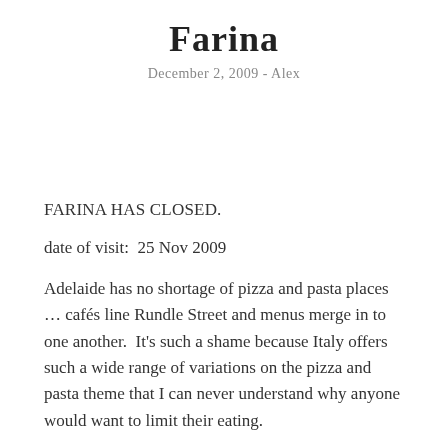Farina
December 2, 2009 - Alex
FARINA HAS CLOSED.
date of visit:  25 Nov 2009
Adelaide has no shortage of pizza and pasta places … cafés line Rundle Street and menus merge in to one another.  It's such a shame because Italy offers such a wide range of variations on the pizza and pasta theme that I can never understand why anyone would want to limit their eating.
This made the discovery of Farina particularly refreshing.  Earlier this year, unable to secure a booking at another venue, a group of